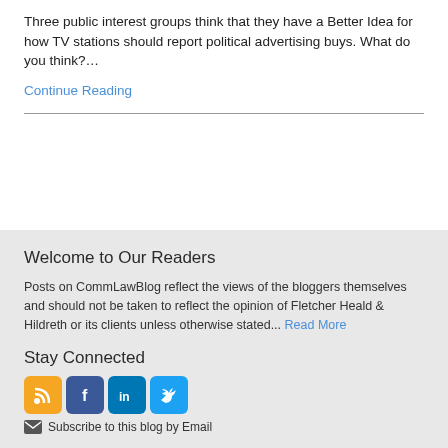Three public interest groups think that they have a Better Idea for how TV stations should report political advertising buys. What do you think?…
Continue Reading
Welcome to Our Readers
Posts on CommLawBlog reflect the views of the bloggers themselves and should not be taken to reflect the opinion of Fletcher Heald & Hildreth or its clients unless otherwise stated... Read More
Stay Connected
[Figure (illustration): Four social media icon buttons: RSS (orange), Facebook (blue), LinkedIn (blue), Twitter (cyan)]
Subscribe to this blog by Email